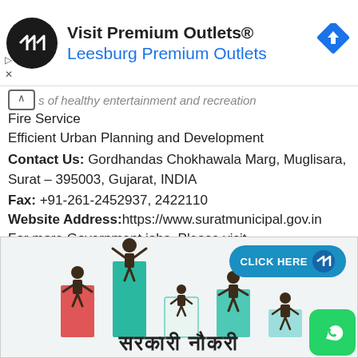[Figure (screenshot): Advertisement banner for Visit Premium Outlets® - Leesburg Premium Outlets with logo and navigation icon]
...s of healthy entertainment and recreation
Fire Service
Efficient Urban Planning and Development
Contact Us: Gordhandas Chokhawala Marg, Muglisara, Surat – 395003, Gujarat, INDIA
Fax: +91-261-2452937, 2422110
Website Address:https://www.suratmunicipal.gov.in
For more Government jobs, Please visit
https://www.sarkari-naukri.in/
[Figure (infographic): Sarkari Naukri (Government Jobs) banner with 'CLICK HERE' button and illustrated figures on podiums]